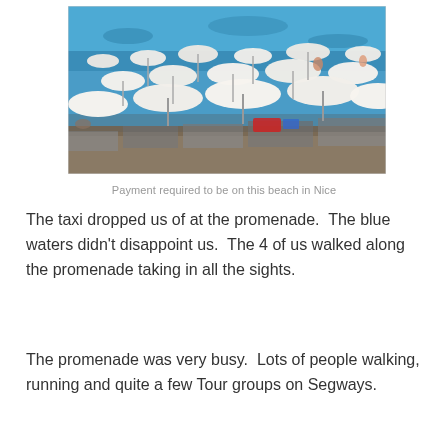[Figure (photo): Aerial view of a crowded beach in Nice, France, showing rows of white beach umbrellas and lounge chairs on a rocky shore with bright blue Mediterranean sea water in the background.]
Payment required to be on this beach in Nice
The taxi dropped us of at the promenade.  The blue waters didn't disappoint us.  The 4 of us walked along the promenade taking in all the sights.
The promenade was very busy.  Lots of people walking, running and quite a few Tour groups on Segways.